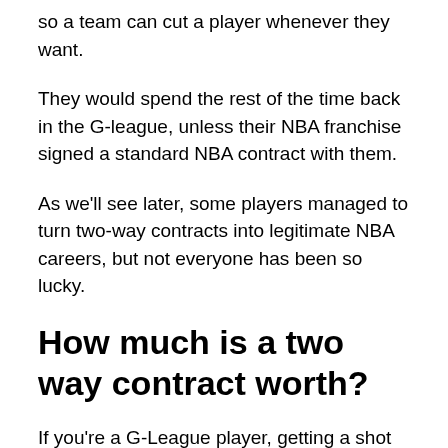so a team can cut a player whenever they want.
They would spend the rest of the time back in the G-league, unless their NBA franchise signed a standard NBA contract with them.
As we'll see later, some players managed to turn two-way contracts into legitimate NBA careers, but not everyone has been so lucky.
How much is a two way contract worth?
If you're a G-League player, getting a shot at the big leagues is probably your dream, and a two-way contract not only gives you a chance